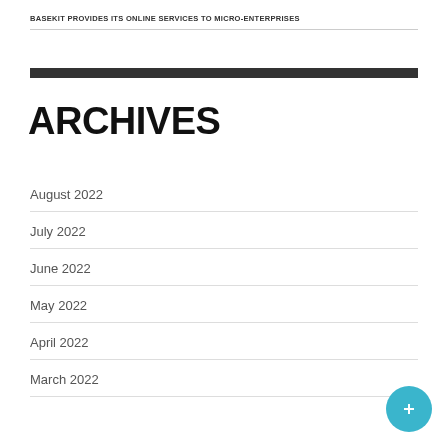BASEKIT PROVIDES ITS ONLINE SERVICES TO MICRO-ENTERPRISES
ARCHIVES
August 2022
July 2022
June 2022
May 2022
April 2022
March 2022